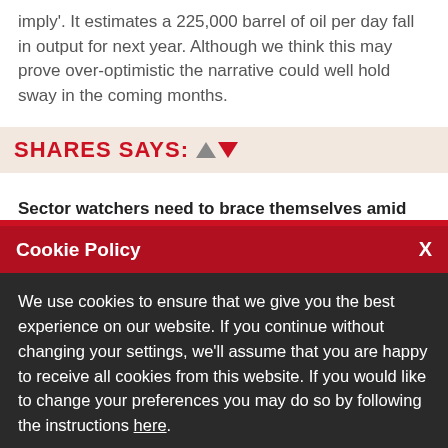imply'. It estimates a 225,000 barrel of oil per day fall in output for next year. Although we think this may prove over-optimistic the narrative could well hold sway in the coming months.
SHARES SAYS:
Sector watchers need to brace themselves amid
Cookie Policy
We use cookies to ensure that we give you the best experience on our website. If you continue without changing your settings, we'll assume that you are happy to receive all cookies from this website. If you would like to change your preferences you may do so by following the instructions here.